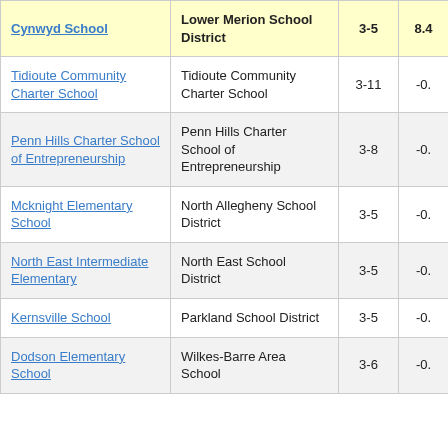| School | District | Grades | Score |
| --- | --- | --- | --- |
| Cynwyd School | Lower Merion School District | 3-5 | 8.4... |
| Tidioute Community Charter School | Tidioute Community Charter School | 3-11 | -0.... |
| Penn Hills Charter School of Entrepreneurship | Penn Hills Charter School of Entrepreneurship | 3-8 | -0.... |
| Mcknight Elementary School | North Allegheny School District | 3-5 | -0.... |
| North East Intermediate Elementary | North East School District | 3-5 | -0.... |
| Kernsville School | Parkland School District | 3-5 | -0.... |
| Dodson Elementary School | Wilkes-Barre Area School | 3-6 | -0.... |